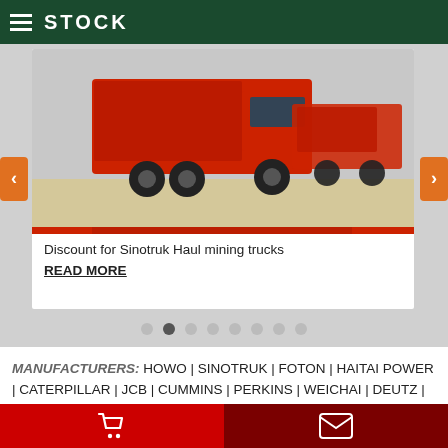STOCK
[Figure (photo): Red Sinotruk haul mining trucks parked in a row, shown from the side/rear angle in a yard]
Discount for Sinotruk Haul mining trucks
READ MORE
MANUFACTURERS: HOWO | SINOTRUK | FOTON | HAITAI POWER | CATERPILLAR | JCB | CUMMINS | PERKINS | WEICHAI | DEUTZ | VOLVO | STAMFORD | DOOASN | WEICHAI | LOVOL | XCMG | SSANTUI | tOPMAC | ZOOMLION | DONFENG | FOTMA | YTO | JINMA | sitemap.xml for Google | Panorama photos created by wirestock - www.freepik.com